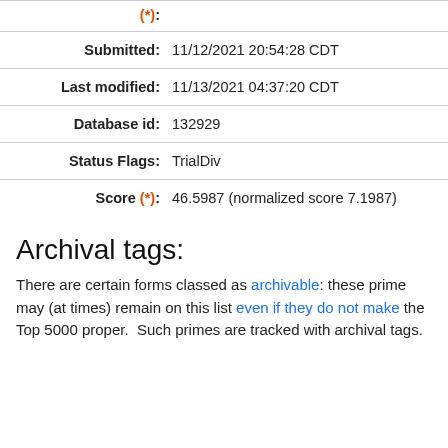| (*): |  |
| Submitted: | 11/12/2021 20:54:28 CDT |
| Last modified: | 11/13/2021 04:37:20 CDT |
| Database id: | 132929 |
| Status Flags: | TrialDiv |
| Score (*): | 46.5987 (normalized score 7.1987) |
Archival tags:
There are certain forms classed as archivable: these prime may (at times) remain on this list even if they do not make the Top 5000 proper.  Such primes are tracked with archival tags.